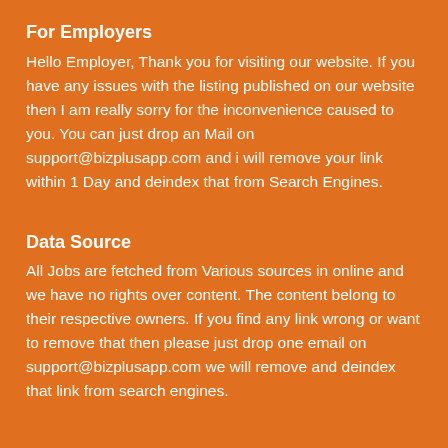For Employers
Hello Employer, Thank you for visiting our website. If you have any issues with the listing published on our website then I am really sorry for the inconvenience caused to you. You can just drop an Mail on support@bizplusapp.com and i will remove your link within 1 Day and deindex that from Search Engines.
Data Source
All Jobs are fetched from Various sources in online and we have no rights over content. The content belong to their respective owners. If you find any link wrong or want to remove that then please just drop one email on support@bizplusapp.com we will remove and deindex that link from search engines.